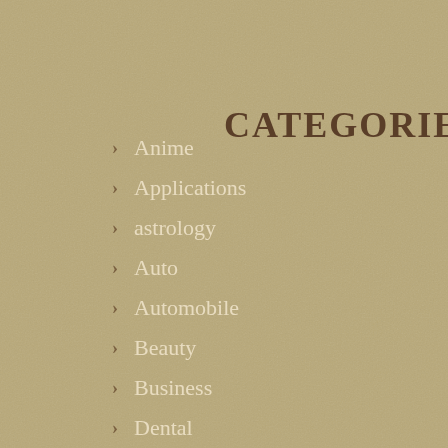CATEGORIES
Anime
Applications
astrology
Auto
Automobile
Beauty
Business
Dental
Digital marketing
Education
Entertainment
Fashion